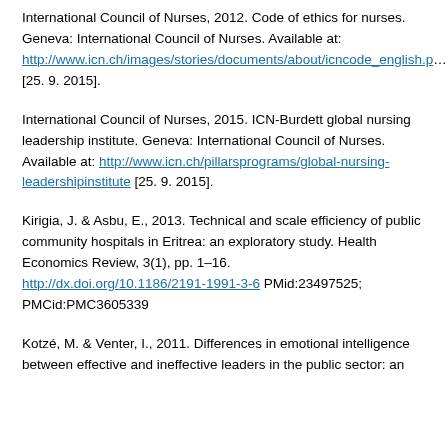International Council of Nurses, 2012. Code of ethics for nurses. Geneva: International Council of Nurses. Available at: http://www.icn.ch/images/stories/documents/about/icncode_english.p… [25. 9. 2015].
International Council of Nurses, 2015. ICN-Burdett global nursing leadership institute. Geneva: International Council of Nurses. Available at: http://www.icn.ch/pillarsprograms/global-nursing-leadershipinstitute [25. 9. 2015].
Kirigia, J. & Asbu, E., 2013. Technical and scale efficiency of public community hospitals in Eritrea: an exploratory study. Health Economics Review, 3(1), pp. 1–16. http://dx.doi.org/10.1186/2191-1991-3-6 PMid:23497525; PMCid:PMC3605339
Kotzé, M. & Venter, I., 2011. Differences in emotional intelligence between effective and ineffective leaders in the public sector: an